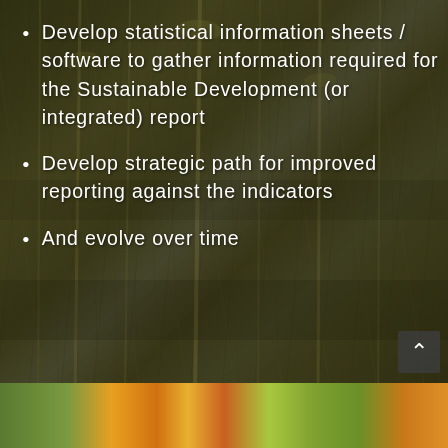Develop statistical information sheets / software to gather information required for the Sustainable Development (or integrated) report
Develop strategic path for improved reporting against the indicators
And evolve over time
[Figure (photo): Background photo of dry grass stalks and natural vegetation (olive/brown tones) with a strip of orange and yellow flowers at the bottom of the page. A dark navigation arrow button is visible in the lower right.]